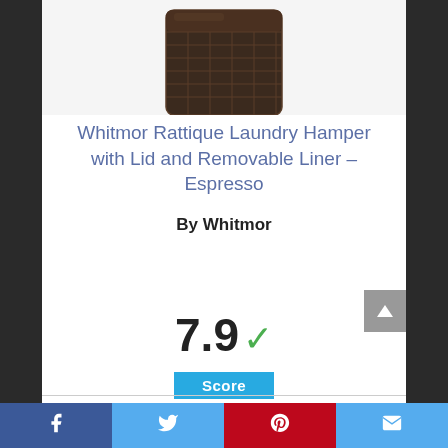[Figure (photo): Partial view of a dark brown wicker/rattan laundry hamper with lid, shown from above against a white background]
Whitmor Rattique Laundry Hamper with Lid and Removable Liner – Espresso
By Whitmor
View Product
7.9 Score
[Figure (other): Partial circle/arc visible at bottom of page, teal/blue color, likely next product section]
Facebook  Twitter  Pinterest  Email